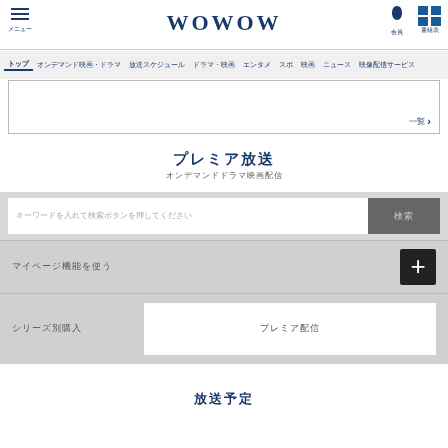WOWOW
トップ　オンデマンド映画・ドラマ　放送スケジュール　ドラマ　エンタメ　スポーツ　映画　ニュース　映像配信サービス
[Figure (screenshot): Banner area with navigation and more link]
プレミア放送
オンデマンドドラマ映画配信
キーワードを入れて検索ボタンを押してください
マイページ機能を使う
シリーズ別購入　プレミア配信
放送予定